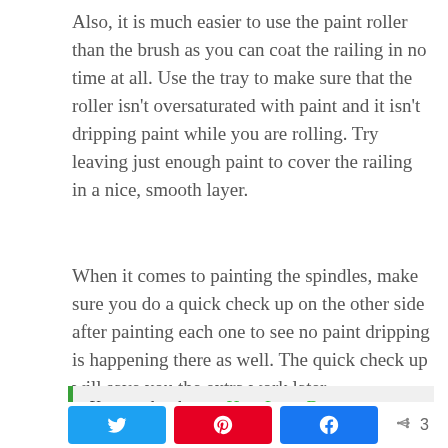Also, it is much easier to use the paint roller than the brush as you can coat the railing in no time at all. Use the tray to make sure that the roller isn't oversaturated with paint and it isn't dripping paint while you are rolling. Try leaving just enough paint to cover the railing in a nice, smooth layer.
When it comes to painting the spindles, make sure you do a quick check up on the other side after painting each one to see no paint dripping is happening there as well. The quick check up will save you the extra work later.
You need to know: How Long Does